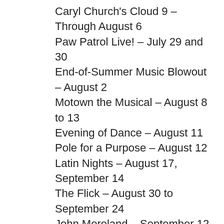Caryl Church's Cloud 9 – Through August 6
Paw Patrol Live! – July 29 and 30
End-of-Summer Music Blowout – August 2
Motown the Musical – August 8 to 13
Evening of Dance – August 11
Pole for a Purpose – August 12
Latin Nights – August 17, September 14
The Flick – August 30 to September 24
John Moreland – September 12
War on the Catwalk – The Queens from Season 9 – September 17
RENT – 20th Anniversary Tour